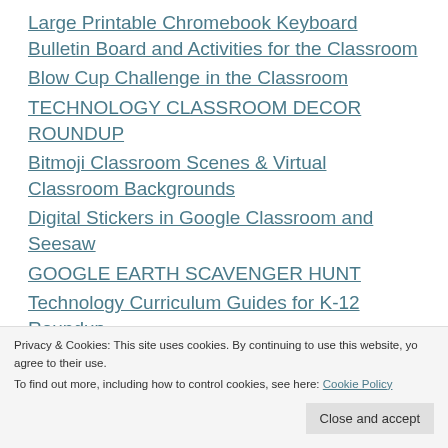Large Printable Chromebook Keyboard Bulletin Board and Activities for the Classroom
Blow Cup Challenge in the Classroom
TECHNOLOGY CLASSROOM DECOR ROUNDUP
Bitmoji Classroom Scenes & Virtual Classroom Backgrounds
Digital Stickers in Google Classroom and Seesaw
GOOGLE EARTH SCAVENGER HUNT
Technology Curriculum Guides for K-12 Roundup
Google Drive Detox: 14 Days to a More Organized Google Drive
Privacy & Cookies: This site uses cookies. By continuing to use this website, you agree to their use. To find out more, including how to control cookies, see here: Cookie Policy
Close and accept